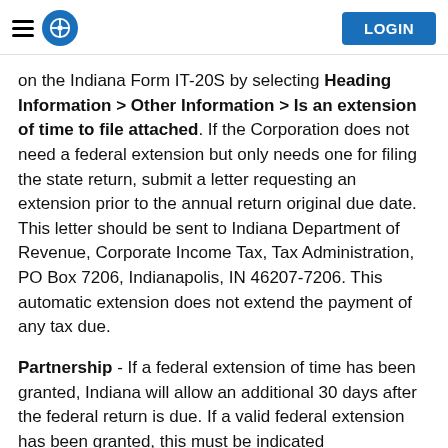LOGIN
on the Indiana Form IT-20S by selecting Heading Information > Other Information > Is an extension of time to file attached. If the Corporation does not need a federal extension but only needs one for filing the state return, submit a letter requesting an extension prior to the annual return original due date. This letter should be sent to Indiana Department of Revenue, Corporate Income Tax, Tax Administration, PO Box 7206, Indianapolis, IN 46207-7206. This automatic extension does not extend the payment of any tax due.
Partnership - If a federal extension of time has been granted, Indiana will allow an additional 30 days after the federal return is due. If a valid federal extension has been granted, this must be indicated